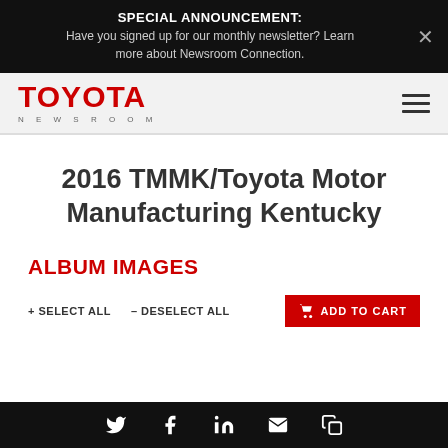SPECIAL ANNOUNCEMENT: Have you signed up for our monthly newsletter? Learn more about Newsroom Connection.
[Figure (logo): Toyota Newsroom logo in red with NEWSROOM text in grey below]
2016 TMMK/Toyota Motor Manufacturing Kentucky
ALBUM IMAGES
+ SELECT ALL   – DESELECT ALL   ADD TO CART
Social icons: Twitter, Facebook, LinkedIn, Email, Link